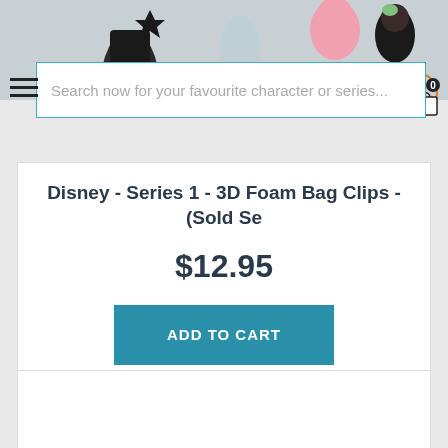[Figure (screenshot): Top banner with anime character figures in background, partially visible]
Search now for your favourite character or series...
Disney - Series 1 - 3D Foam Bag Clips - (Sold Se
$12.95
ADD TO CART